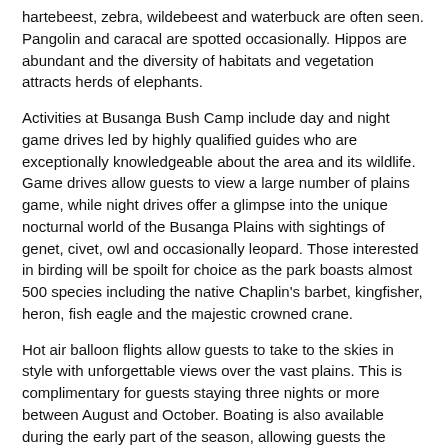hartebeest, zebra, wildebeest and waterbuck are often seen. Pangolin and caracal are spotted occasionally. Hippos are abundant and the diversity of habitats and vegetation attracts herds of elephants.
Activities at Busanga Bush Camp include day and night game drives led by highly qualified guides who are exceptionally knowledgeable about the area and its wildlife. Game drives allow guests to view a large number of plains game, while night drives offer a glimpse into the unique nocturnal world of the Busanga Plains with sightings of genet, civet, owl and occasionally leopard. Those interested in birding will be spoilt for choice as the park boasts almost 500 species including the native Chaplin's barbet, kingfisher, heron, fish eagle and the majestic crowned crane.
Hot air balloon flights allow guests to take to the skies in style with unforgettable views over the vast plains. This is complimentary for guests staying three nights or more between August and October. Boating is also available during the early part of the season, allowing guests the opportunity to explore the channels and its wildlife. Short walking safaris are possible, although the open country of the plains doesn't particularly lend itself to the best walking experience.